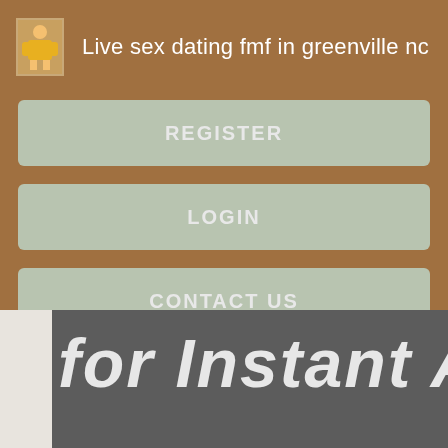Live sex dating fmf in greenville nc
REGISTER
LOGIN
CONTACT US
for Instant A...